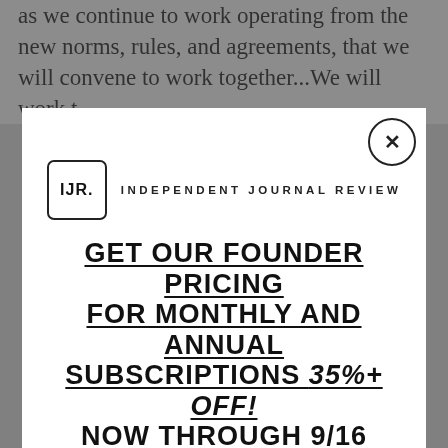as we continue to work operating from the new norms, rules, and agreements, that we will convene to work together...We will work t
[Figure (screenshot): IJR (Independent Journal Review) subscription modal overlay. Contains IJR logo, headline 'GET OUR FOUNDER PRICING FOR MONTHLY AND ANNUAL SUBSCRIPTIONS 35%+ OFF! NOW THROUGH 9/16', and a red 'SUBSCRIBE TODAY' button. Modal has an X close button in top-right corner.]
GET OUR FOUNDER PRICING FOR MONTHLY AND ANNUAL SUBSCRIPTIONS 35%+ OFF! NOW THROUGH 9/16
SUBSCRIBE TODAY